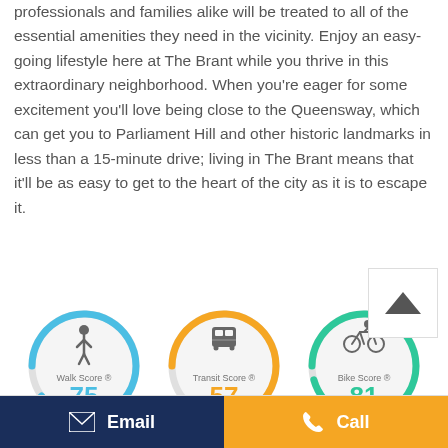professionals and families alike will be treated to all of the essential amenities they need in the vicinity. Enjoy an easy-going lifestyle here at The Brant while you thrive in this extraordinary neighborhood. When you're eager for some excitement you'll love being close to the Queensway, which can get you to Parliament Hill and other historic landmarks in less than a 15-minute drive; living in The Brant means that it'll be as easy to get to the heart of the city as it is to escape it.
[Figure (infographic): Three score circles: Walk Score 75 (blue), Transit Score 57 (orange), Bike Score 81 (green)]